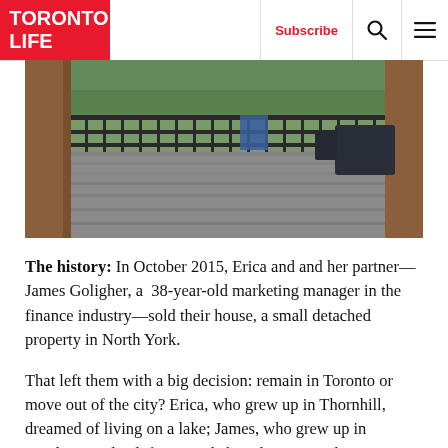TORONTO LIFE | Subscribe
[Figure (photo): Person standing on a wooden deck with metal railings, surrounded by trees. Outdoor furniture visible in the background right.]
The history: In October 2015, Erica and and her partner—James Goligher, a 38-year-old marketing manager in the finance industry—sold their house, a small detached property in North York.
That left them with a big decision: remain in Toronto or move out of the city? Erica, who grew up in Thornhill, dreamed of living on a lake; James, who grew up in London, England, fantasized about living on a large